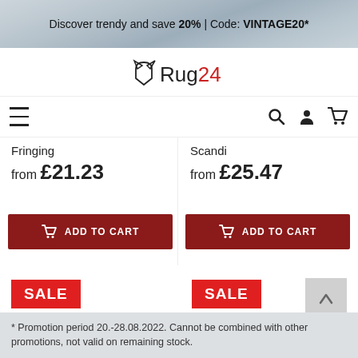Discover trendy and save 20% | Code: VINTAGE20*
[Figure (logo): Rug24 logo with shield/cat icon]
≡  🔍  👤  🛒
Fringing
Scandi
from £21.23
from £25.47
ADD TO CART
ADD TO CART
SALE
SALE
* Promotion period 20.-28.08.2022. Cannot be combined with other promotions, not valid on remaining stock.